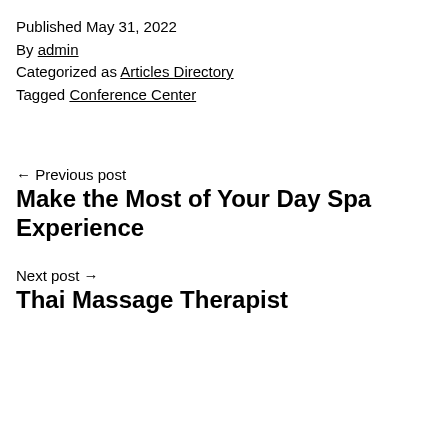Published May 31, 2022
By admin
Categorized as Articles Directory
Tagged Conference Center
← Previous post
Make the Most of Your Day Spa Experience
Next post →
Thai Massage Therapist